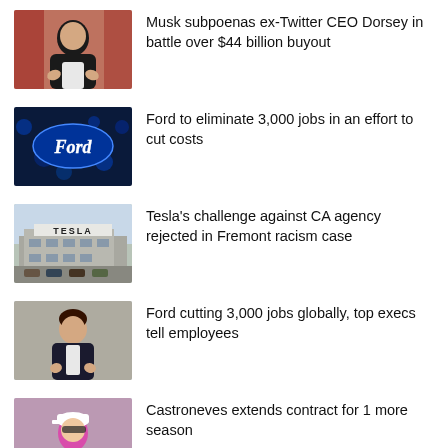[Figure (photo): Photo of Elon Musk smiling, wearing a dark jacket, at an event with red background]
Musk subpoenas ex-Twitter CEO Dorsey in battle over $44 billion buyout
[Figure (photo): Ford illuminated logo sign at night with blue lighting]
Ford to eliminate 3,000 jobs in an effort to cut costs
[Figure (photo): Aerial or street view of Tesla facility in Fremont with signage visible]
Tesla's challenge against CA agency rejected in Fremont racism case
[Figure (photo): Man in suit speaking at an event or press conference]
Ford cutting 3,000 jobs globally, top execs tell employees
[Figure (photo): Person in pink outfit wearing a cap, likely a racing driver]
Castroneves extends contract for 1 more season